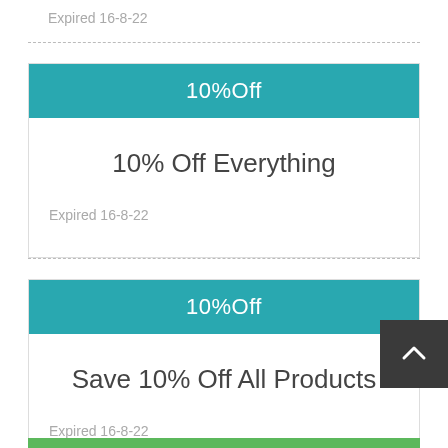Expired 16-8-22
10%Off
10% Off Everything
Expired 16-8-22
10%Off
Save 10% Off All Products
Expired 16-8-22